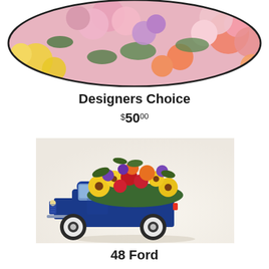[Figure (photo): A colorful floral arrangement featuring pink roses, gerbera daisies, orange flowers, yellow blooms, and green foliage in a rounded bouquet shape with a dark oval border at the top of the page.]
Designers Choice
$50.00
[Figure (photo): A classic dark blue 1948 Ford pickup truck model filled with a colorful arrangement of yellow sunflowers, red roses, orange flowers, purple flowers, and green foliage spilling from the truck bed.]
48 Ford